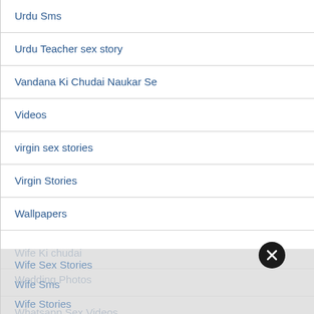Urdu Sms
Urdu Teacher sex story
Vandana Ki Chudai Naukar Se
Videos
virgin sex stories
Virgin Stories
Wallpapers
Wedding
Wedding Photos
Whatsapp Sex Videos
Wife
Wife Ki chudai
Wife Sex Stories
Wife Sms
Wife Stories